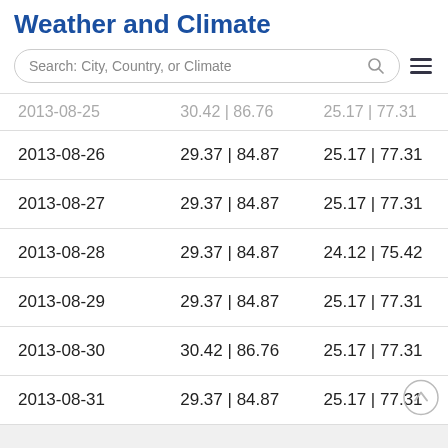Weather and Climate
Search: City, Country, or Climate
| 2013-08-25 | 30.42 | 86.76 | 25.17 | 77.31 |
| 2013-08-26 | 29.37 | 84.87 | 25.17 | 77.31 |
| 2013-08-27 | 29.37 | 84.87 | 25.17 | 77.31 |
| 2013-08-28 | 29.37 | 84.87 | 24.12 | 75.42 |
| 2013-08-29 | 29.37 | 84.87 | 25.17 | 77.31 |
| 2013-08-30 | 30.42 | 86.76 | 25.17 | 77.31 |
| 2013-08-31 | 29.37 | 84.87 | 25.17 | 77.31 |